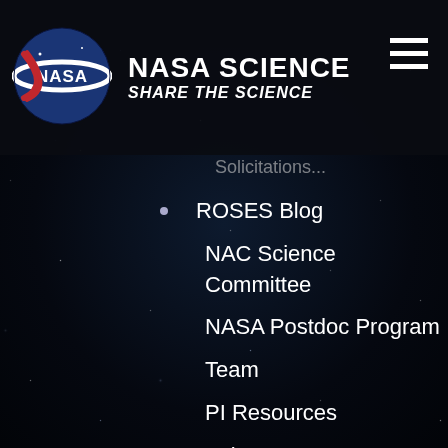[Figure (logo): NASA meatball logo — circular blue sphere with red chevron and white NASA text]
NASA SCIENCE
SHARE THE SCIENCE
Solicitations...
ROSES Blog
NAC Science Committee
NASA Postdoc Program
Team
PI Resources
Science Data
Help & Support
LEARNERS
Overview
Teams
Resources
SME Map